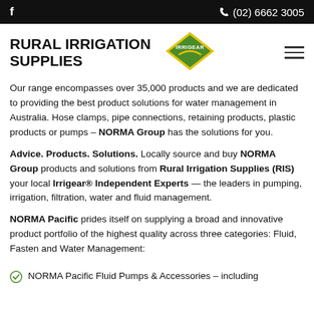f   (02) 6662 3005
RURAL IRRIGATION SUPPLIES
Our range encompasses over 35,000 products and we are dedicated to providing the best product solutions for water management in Australia. Hose clamps, pipe connections, retaining products, plastic products or pumps – NORMA Group has the solutions for you.
Advice. Products. Solutions. Locally source and buy NORMA Group products and solutions from Rural Irrigation Supplies (RIS) your local Irrigear® Independent Experts — the leaders in pumping, irrigation, filtration, water and fluid management.
NORMA Pacific prides itself on supplying a broad and innovative product portfolio of the highest quality across three categories: Fluid, Fasten and Water Management:
NORMA Pacific Fluid Pumps & Accessories – including